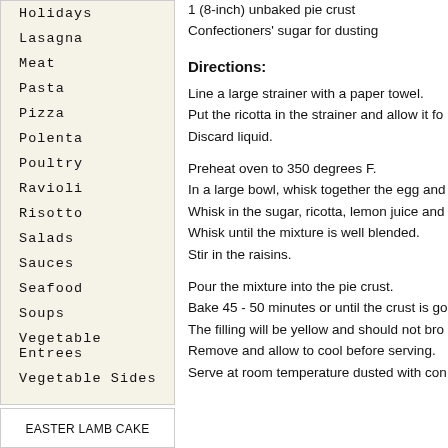Holidays
Lasagna
Meat
Pasta
Pizza
Polenta
Poultry
Ravioli
Risotto
Salads
Sauces
Seafood
Soups
Vegetable Entrees
Vegetable Sides
EASTER LAMB CAKE
1 (8-inch) unbaked pie crust
Confectioners' sugar for dusting
Directions:
Line a large strainer with a paper towel. Put the ricotta in the strainer and allow it fo Discard liquid.
Preheat oven to 350 degrees F. In a large bowl, whisk together the egg and Whisk in the sugar, ricotta, lemon juice and Whisk until the mixture is well blended. Stir in the raisins.
Pour the mixture into the pie crust. Bake 45 - 50 minutes or until the crust is go The filling will be yellow and should not bro Remove and allow to cool before serving. Serve at room temperature dusted with con